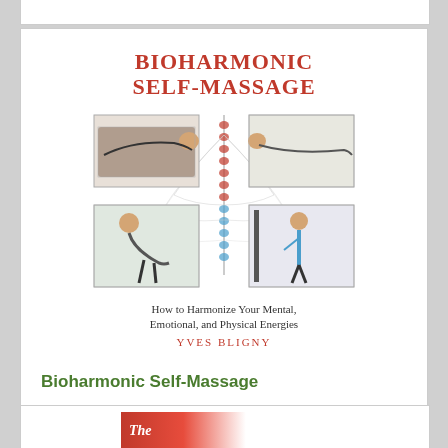[Figure (illustration): Book cover of 'Bioharmonic Self-Massage' by Yves Bligny. Shows spine illustration in center with four photos: top-left person lying down, top-right person lying down, bottom-left person bending forward, bottom-right person standing. Subtitle: How to Harmonize Your Mental, Emotional, and Physical Energies.]
Bioharmonic Self-Massage
$33.00
Add to Cart